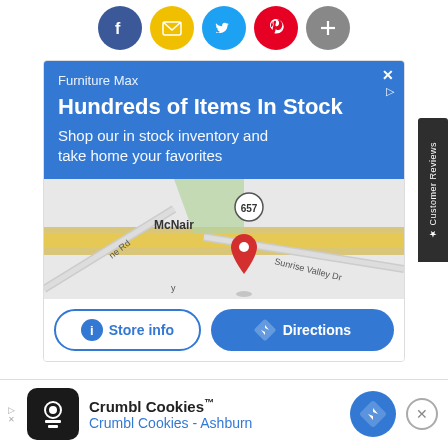[Figure (infographic): Row of 5 social sharing icons: Facebook (blue), Email (yellow), Twitter (light blue), Pinterest (red), More/Plus (gray)]
[Figure (infographic): Google local ad for Furniture Max. Blue header with text 'Furniture Max', 'Hundreds of Items In Stock', 'Shop our in stock inventory and take home your favorites'. Map section showing McNair area near route 657, Sunrise Valley Dr, with a red map pin. Two buttons: 'Store info' and 'Directions'.]
[Figure (infographic): Customer Reviews vertical side tab on right edge, dark gray background, white text reading star Customer Reviews]
RELATED PRODUCTS
[Figure (infographic): Bottom banner ad for Crumbl Cookies with logo, text 'Crumbl Cookies™' and 'Crumbl Cookies - Ashburn', blue directions button, and close X button]